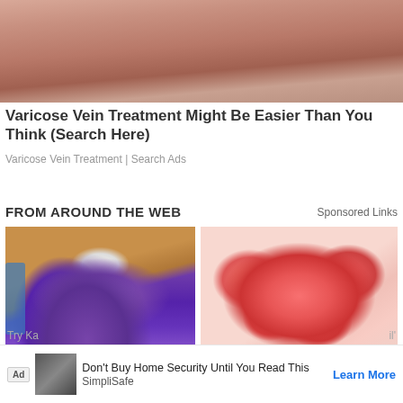[Figure (photo): Close-up photo of a person's leg/skin, pinkish-tan tones, cropped at top]
Varicose Vein Treatment Might Be Easier Than You Think (Search Here)
Varicose Vein Treatment | Search Ads
FROM AROUND THE WEB
Sponsored Links
[Figure (photo): Purple smoothie in a mason jar with peanut butter drizzle and whipped cream, held by hand, kitchen background]
[Figure (photo): Several red sugar-coated gummy candies held in a palm against a dark background]
Don't Buy Home Security Until You Read This
SimpliSafe
Learn More
Try Ka
il'